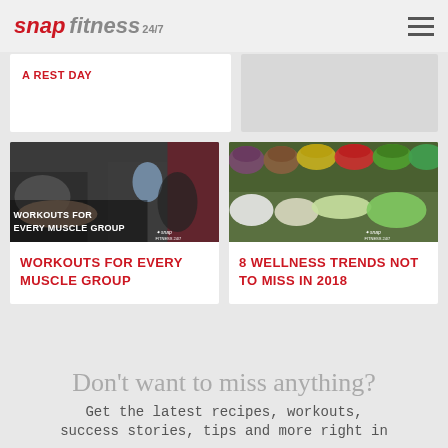[Figure (logo): Snap Fitness 24/7 logo in red and grey italic bold text]
[Figure (other): Hamburger menu icon with three horizontal lines]
A REST DAY
[Figure (photo): Gym workout scene with people exercising, text overlay: WORKOUTS FOR EVERY MUSCLE GROUP, Snap Fitness 24/7 logo]
WORKOUTS FOR EVERY MUSCLE GROUP
[Figure (photo): Fresh vegetables and fruits in baskets at a market, Snap Fitness 24/7 logo overlay]
8 WELLNESS TRENDS NOT TO MISS IN 2018
Don't want to miss anything?
Get the latest recipes, workouts, success stories, tips and more right in